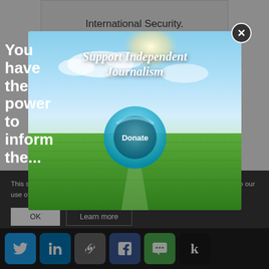International Security.
Related
China's Other Looming Choke Point: Food Production
May 26,
In "Agriculture"
In China, Every Squ...
Choke Point: Leopard...
June 10,
In "Agriculture"
[Figure (screenshot): Support Independent Journalism modal overlay with sky and green field background, teal circular Donate button, and close X button]
You have the power to inform the...
This site uses cookies. By continuing to browse the site, you are agreeing to our use of cookies.
OK
Learn more
Tags: Choke Point, China Feature Stories, Choke...